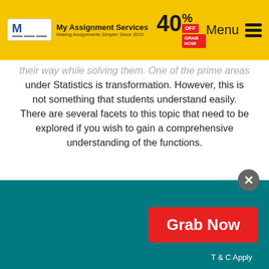My Assignment Services — 40% OFF — Menu
their way while solving them. One of the prime areas under Statistics is transformation. However, this is not something that students understand easily. There are several facets to this topic that need to be explored if you wish to gain a comprehensive understanding of the functions.
The main purpose of transformations is to determine the function of some given random variables. There are two types of transformations that are studied under this topic. These are univariate and bivariate transformations.
[Figure (screenshot): Teal promotional section with Grab Now red button and T&C Apply text]